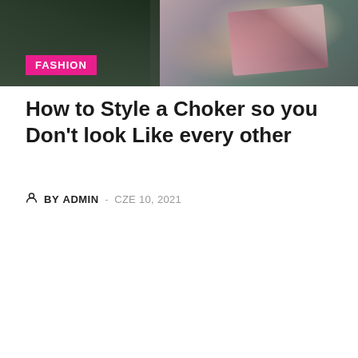[Figure (photo): Partial top image of a person, partially visible, with a FASHION category badge overlay in pink]
How to Style a Choker so you Don't look Like every other
BY ADMIN  -  CZE 10, 2021
[Figure (photo): Group of young people making funny faces for a selfie outdoors, with trees and buildings in background. A red scroll-to-top button with chevron arrows is overlaid at bottom right.]